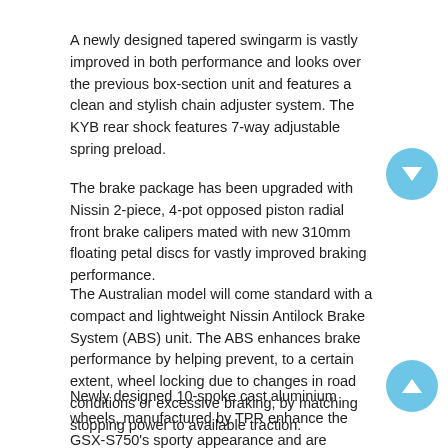A newly designed tapered swingarm is vastly improved in both performance and looks over the previous box-section unit and features a clean and stylish chain adjuster system. The KYB rear shock features 7-way adjustable spring preload.
The brake package has been upgraded with Nissin 2-piece, 4-pot opposed piston radial front brake calipers mated with new 310mm floating petal discs for vastly improved braking performance.
The Australian model will come standard with a compact and lightweight Nissin Antilock Brake System (ABS) unit. The ABS enhances brake performance by helping prevent, to a certain extent, wheel locking due to changes in road conditions or excessive braking, by matching stopping power to available traction.
Newly designed 10-spoke cast aluminium wheels, manufactured by TPR enhance the GSX-S750's sporty appearance and are matched with specially developed Bridgestone Battlax Hypersport S21 radial tyres providing superior grip and stability on the road.